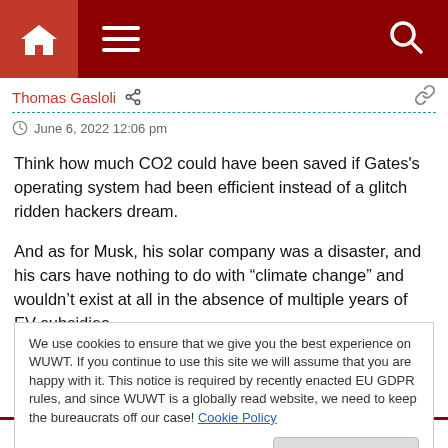Navigation bar with home, menu, and search icons
Thomas Gasloli
June 6, 2022 12:06 pm
Think how much CO2 could have been saved if Gates's operating system had been efficient instead of a glitch ridden hackers dream.

And as for Musk, his solar company was a disaster, and his cars have nothing to do with “climate change” and wouldn’t exist at all in the absence of multiple years of EV subsidies.
We use cookies to ensure that we give you the best experience on WUWT. If you continue to use this site we will assume that you are happy with it. This notice is required by recently enacted EU GDPR rules, and since WUWT is a globally read website, we need to keep the bureaucrats off our case! Cookie Policy
companies thriving on the computer connectivity problem